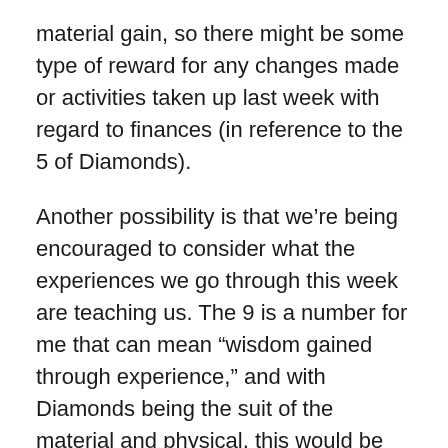material gain, so there might be some type of reward for any changes made or activities taken up last week with regard to finances (in reference to the 5 of Diamonds).
Another possibility is that we’re being encouraged to consider what the experiences we go through this week are teaching us. The 9 is a number for me that can mean “wisdom gained through experience,” and with Diamonds being the suit of the material and physical, this would be the area of that attainment.
The 9 is also a number that pertains to spiritual advancement, so, if the sphere of spirituality, the 9 of Diamonds can turn up when there’s a focus and attention on developing (or advancing) one’s psychic ability (if that’s not too “woo-woo” for you; it isn’t for Kadar).